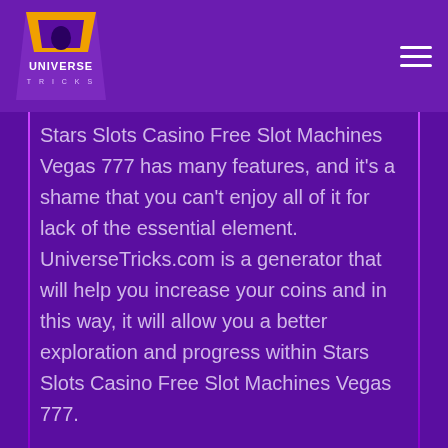Universe Tricks
Stars Slots Casino Free Slot Machines Vegas 777 has many features, and it's a shame that you can't enjoy all of it for lack of the essential element. UniverseTricks.com is a generator that will help you increase your coins and in this way, it will allow you a better exploration and progress within Stars Slots Casino Free Slot Machines Vegas 777.
FREE Coins Money GENERATOR FOR Stars Slots Casino Free Slot Machines Vegas 777